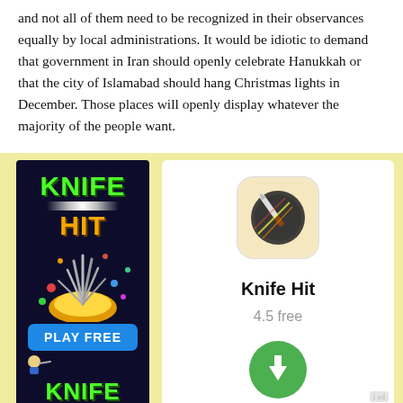and not all of them need to be recognized in their observances equally by local administrations. It would be idiotic to demand that government in Iran should openly celebrate Hanukkah or that the city of Islamabad should hang Christmas lights in December. Those places will openly display whatever the majority of the people want.
[Figure (illustration): Advertisement banner for 'Knife Hit' mobile game showing game title in green and yellow text, colorful explosion graphic, 'PLAY FREE' button in blue, and 'KNIFE' text at bottom, all on dark background. Adjacent white panel shows app icon (knife throwing game), app name 'Knife Hit', rating '4.5 free', and a green download button.]